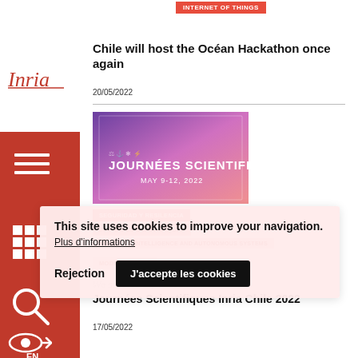[Figure (screenshot): Inria website screenshot showing navigation sidebar with Inria logo, hamburger menu, grid icon, search icon on red background, and main content area with articles and cookie consent overlay]
Internet of Things
Chile will host the Océan Hackathon once again
20/05/2022
[Figure (photo): Journées Scientifiques May 9-12, 2022 banner with purple-pink gradient background and scientific icons]
SEGURIDAD Y RESILENCIA
JOURNÉES SCIENTIFIQUES
ARTIFICIAL INTELLIGENCE AND AUTONOMOUS SYSTEMS
MODELAMIENTO
This site uses cookies to improve your navigation. Plus d'informations
Rejection
J'accepte les cookies
We successfully closed the first Journées Scientifiques Inria Chile 2022
17/05/2022